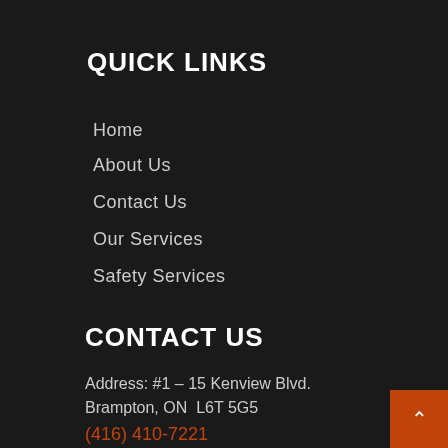QUICK LINKS
Home
About Us
Contact Us
Our Services
Safety Services
CONTACT US
Address: #1 – 15 Kenview Blvd.
Brampton, ON  L6T 5G5
(416) 410-7221